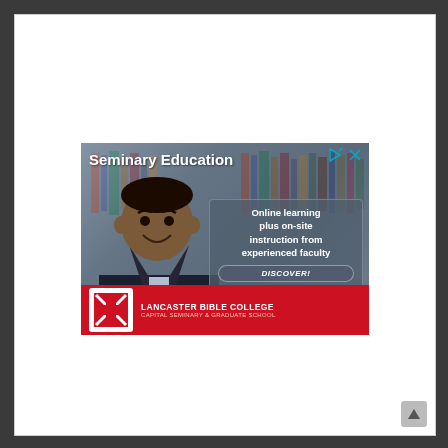[Figure (illustration): Advertisement for Lancaster Bible College Capital Seminary & Graduate School. Shows a smiling young Black man in a suit jacket against a library background. Text reads 'Seminary Education' at top, 'Online learning plus on-site instruction from experienced faculty', a 'DISCOVER!' button, and the college logo and name in a red bar at the bottom. Ad icons (play and close) appear in top right corner.]